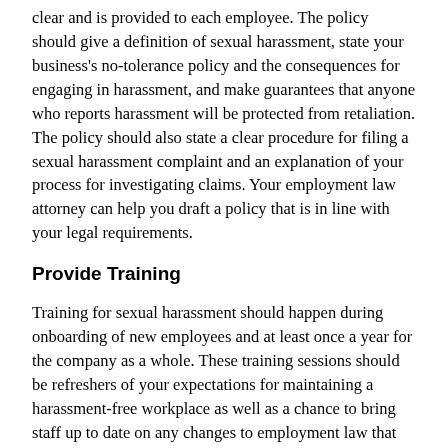clear and is provided to each employee. The policy should give a definition of sexual harassment, state your business's no-tolerance policy and the consequences for engaging in harassment, and make guarantees that anyone who reports harassment will be protected from retaliation. The policy should also state a clear procedure for filing a sexual harassment complaint and an explanation of your process for investigating claims. Your employment law attorney can help you draft a policy that is in line with your legal requirements.
Provide Training
Training for sexual harassment should happen during onboarding of new employees and at least once a year for the company as a whole. These training sessions should be refreshers of your expectations for maintaining a harassment-free workplace as well as a chance to bring staff up to date on any changes to employment law that have occurred since your last session. Your employment law expert may be able to help you lead these sessions.